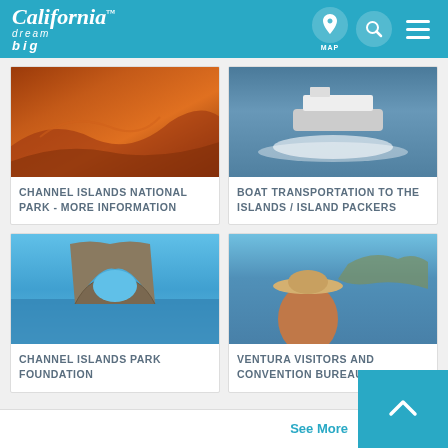California Dream Big
[Figure (photo): Aerial view of red sand dunes]
CHANNEL ISLANDS NATIONAL PARK - MORE INFORMATION
[Figure (photo): Aerial view of a boat on the ocean]
BOAT TRANSPORTATION TO THE ISLANDS / ISLAND PACKERS
[Figure (photo): Rocky arch formation in the ocean]
CHANNEL ISLANDS PARK FOUNDATION
[Figure (photo): Woman in a hat looking at island scenery]
VENTURA VISITORS AND CONVENTION BUREAU